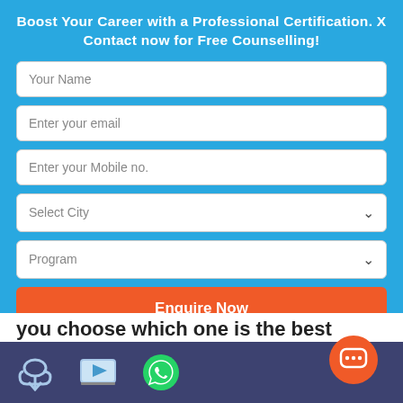Boost Your Career with a Professional Certification. X Contact now for Free Counselling!
Your Name
Enter your email
Enter your Mobile no.
Select City
Program
Enquire Now
you choose which one is the best suited for you and your profile.
Footer with icons: cloud download, video play, WhatsApp, chat bubble